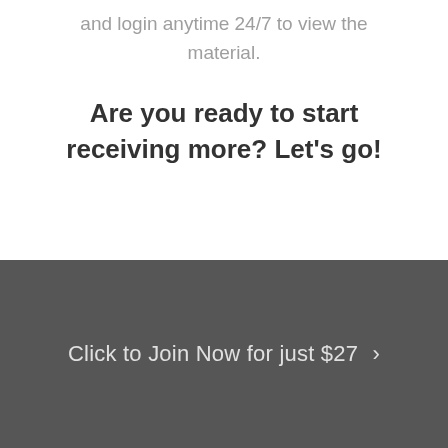and login anytime 24/7 to view the material.
Are you ready to start receiving more? Let's go!
Click to Join Now for just $27 >